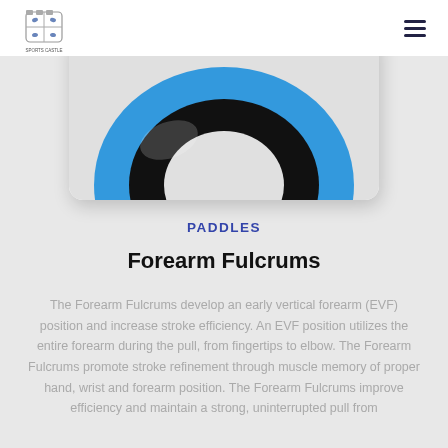[Figure (logo): Sports Castle logo: castle shield with sports icons and text 'Sports Castle' below]
[Figure (photo): Close-up of a blue and black circular forearm fulcrum swim paddle against white background]
PADDLES
Forearm Fulcrums
The Forearm Fulcrums develop an early vertical forearm (EVF) position and increase stroke efficiency. An EVF position utilizes the entire forearm during the pull, from fingertips to elbow. The Forearm Fulcrums promote stroke refinement through muscle memory of proper hand, wrist and forearm position. The Forearm Fulcrums improve efficiency and maintain a strong, uninterrupted pull from